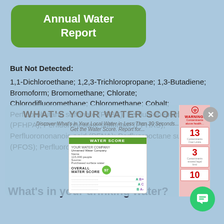Annual Water Report
But Not Detected:
1,1-Dichloroethane; 1,2,3-Trichloropropane; 1,3-Butadiene; Bromoform; Bromomethane; Chlorate; Chlorodifluoromethane; Chloromethane; Cobalt; Perfluorobutane sulfonate (PFBS); Perfluoroheptanoic acid (PFHPA); Perfluorohexane sulfonate (PFHXS); Perfluorononanoic acid (PFNA); Perfluorooctane sulfonate (PFOS); Perfluorooctanoic acid (PFOA)
[Figure (screenshot): WHAT'S YOUR WATER SCORE? overlay popup with subtitle 'Discover What's in Your Local Water in Less Than 30 Seconds... Get the Water Score. Report for...' and a water score card showing scores 13, 3, 10 with WARNING labels and letter grades]
What's in your drinking water?